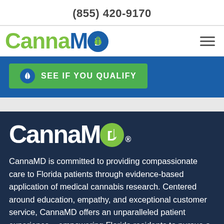(855) 420-9170
[Figure (logo): CannaMD logo with green Canna text and blue MD text with cannabis leaf icon in a blue circle]
[Figure (other): Green SEE IF YOU QUALIFY button with cannabis leaf icon on blue background]
[Figure (logo): CannaMD logo in white with green cannabis leaf circle for D, on dark navy background]
CannaMD is committed to providing compassionate care to Florida patients through evidence-based application of medical cannabis research. Centered around education, empathy, and exceptional customer service, CannaMD offers an unparalleled patient experience – empowering Florida residents to pursue a